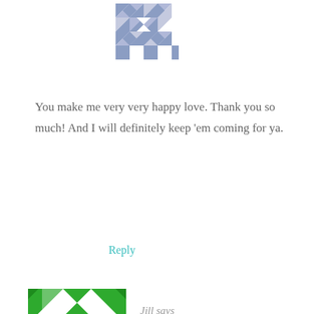[Figure (illustration): Blue/purple geometric quilt-pattern avatar icon at top center]
You make me very very happy love. Thank you so much! And I will definitely keep 'em coming for ya.
Reply
[Figure (illustration): Green geometric quilt-pattern avatar icon for commenter Jill]
Jill says
NOVEMBER 15, 2017 AT 8:42 PM
[Figure (infographic): Social sharing bar with Facebook, Pinterest, Yummly, Twitter, and share buttons]
burnt before I put it in the oven. Help! Any ideas why? I followed the recipe.